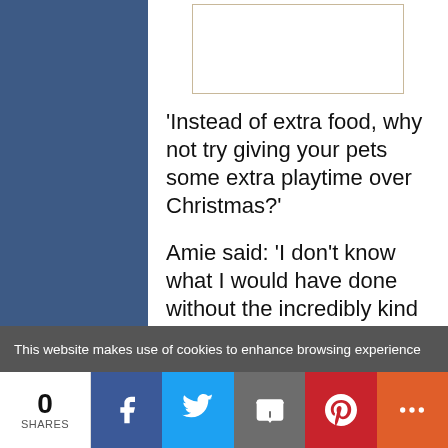[Figure (photo): Image placeholder box with tan/gold border at top of content area]
‘Instead of extra food, why not try giving your pets some extra playtime over Christmas?’
Amie said: ‘I don’t know what I would have done without the incredibly kind and caring staff at PDSA – they were
This website makes use of cookies to enhance browsing experience
0 SHARES